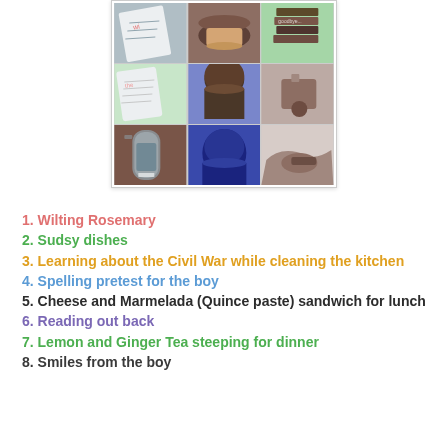[Figure (photo): 3x3 photo collage showing various scenes: handwritten notes, bread on plate, stack of books, glass pitcher with tea, child's head from behind, hand on mouse]
1. Wilting Rosemary
2. Sudsy dishes
3. Learning about the Civil War while cleaning the kitchen
4. Spelling pretest for the boy
5. Cheese and Marmelada (Quince paste) sandwich for lunch
6. Reading out back
7. Lemon and Ginger Tea steeping for dinner
8. Smiles from the boy